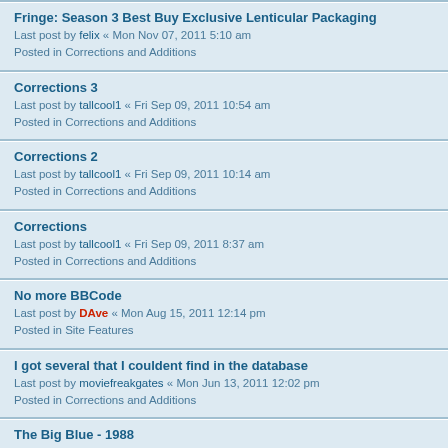Fringe: Season 3 Best Buy Exclusive Lenticular Packaging
Last post by felix « Mon Nov 07, 2011 5:10 am
Posted in Corrections and Additions
Corrections 3
Last post by tallcool1 « Fri Sep 09, 2011 10:54 am
Posted in Corrections and Additions
Corrections 2
Last post by tallcool1 « Fri Sep 09, 2011 10:14 am
Posted in Corrections and Additions
Corrections
Last post by tallcool1 « Fri Sep 09, 2011 8:37 am
Posted in Corrections and Additions
No more BBCode
Last post by DAve « Mon Aug 15, 2011 12:14 pm
Posted in Site Features
I got several that I couldent find in the database
Last post by moviefreakgates « Mon Jun 13, 2011 12:02 pm
Posted in Corrections and Additions
The Big Blue - 1988
Last post by Mr.G « Thu Apr 07, 2011 9:05 am
Posted in Corrections and Additions
Four Weddings and a Funeral - Target Edition
Last post by trueblu2 « Tue Jan 18, 2011 9:22 am
Posted in Corrections and Additions
Twilight (Target Two-Disc Deluxe Edition)